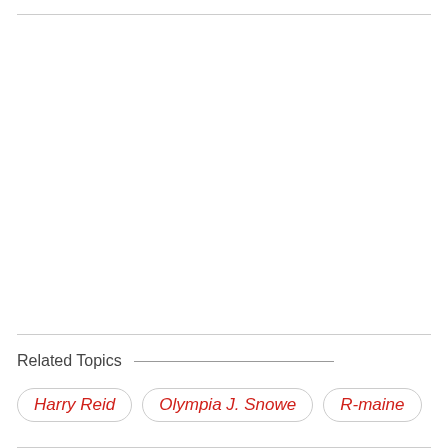Related Topics
Harry Reid
Olympia J. Snowe
R-maine